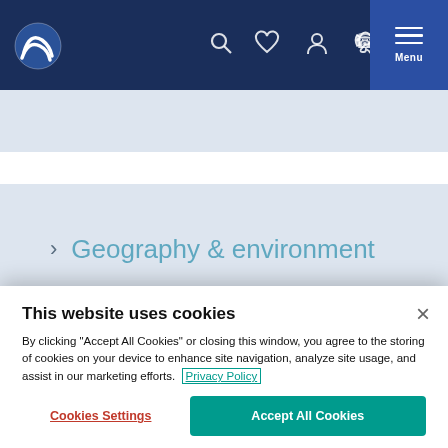Navigation bar with logo, search, wishlist, account, phone and menu icons
> Geography & environment
> Shopping guide to Greenland
This website uses cookies

By clicking "Accept All Cookies" or closing this window, you agree to the storing of cookies on your device to enhance site navigation, analyze site usage, and assist in our marketing efforts. Privacy Policy
Cookies Settings | Accept All Cookies